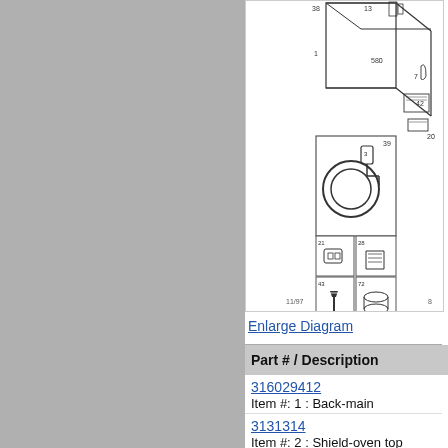[Figure (schematic): Engineering exploded parts diagram for an appliance showing numbered components including a cable (item 39), connectors (items 21, 28), screw (item 43), and cylindrical part (item 72), along with items 1, 7, 13, 20, 38, 42, 580. Date stamp 11/97 and page number 8 at bottom.]
Enlarge Diagram
| Part # / Description |
| --- |
| 316029412 | Item #: 1 : Back-main |
| 3131314 | Item #: 2 : Shield-oven top |
316029412
Item #: 1 : Back-main
3131314
Item #: 2 : Shield-oven top